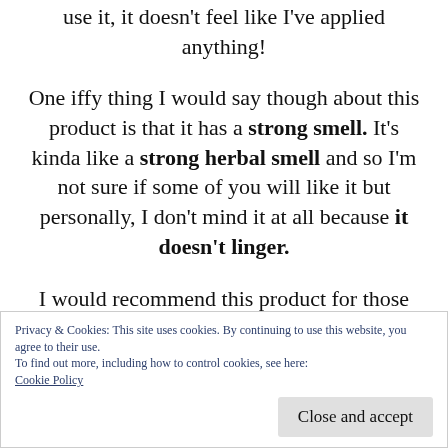use it, it doesn't feel like I've applied anything!
One iffy thing I would say though about this product is that it has a strong smell. It's kinda like a strong herbal smell and so I'm not sure if some of you will like it but personally, I don't mind it at all because it doesn't linger.
I would recommend this product for those of you who have oily/combination skin. Not sure about those of you with dry skin or oily
Privacy & Cookies: This site uses cookies. By continuing to use this website, you agree to their use.
To find out more, including how to control cookies, see here:
Cookie Policy
Close and accept